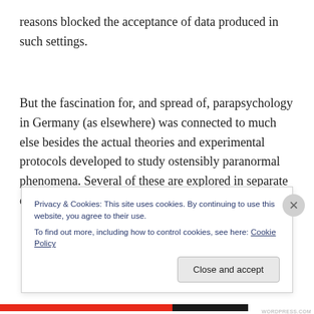reasons blocked the acceptance of data produced in such settings.
But the fascination for, and spread of, parapsychology in Germany (as elsewhere) was connected to much else besides the actual theories and experimental protocols developed to study ostensibly paranormal phenomena. Several of these are explored in separate chapters,
Privacy & Cookies: This site uses cookies. By continuing to use this website, you agree to their use.
To find out more, including how to control cookies, see here: Cookie Policy